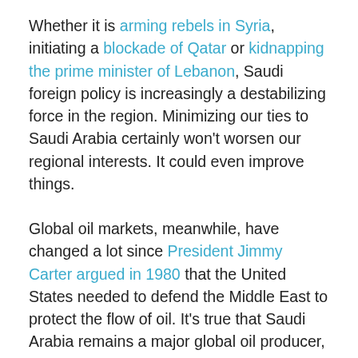Whether it is arming rebels in Syria, initiating a blockade of Qatar or kidnapping the prime minister of Lebanon, Saudi foreign policy is increasingly a destabilizing force in the region. Minimizing our ties to Saudi Arabia certainly won't worsen our regional interests. It could even improve things.
Global oil markets, meanwhile, have changed a lot since President Jimmy Carter argued in 1980 that the United States needed to defend the Middle East to protect the flow of oil. It's true that Saudi Arabia remains a major global oil producer, but changes in the world market mean that America today is far less reliant on Middle Eastern energy.
To keep the oil flowing, Saudi Arabia needs to be